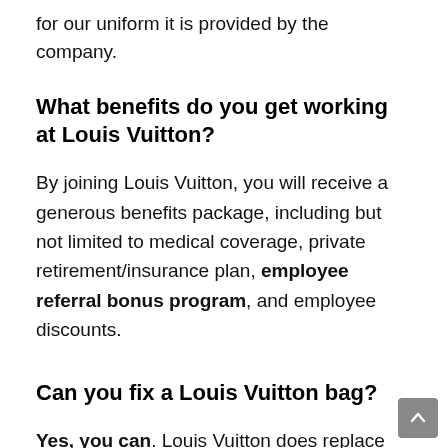for our uniform it is provided by the company.
What benefits do you get working at Louis Vuitton?
By joining Louis Vuitton, you will receive a generous benefits package, including but not limited to medical coverage, private retirement/insurance plan, employee referral bonus program, and employee discounts.
Can you fix a Louis Vuitton bag?
Yes, you can. Louis Vuitton does replace elements made of vachetta, whether it's only one part of the purse, like top handles, or the